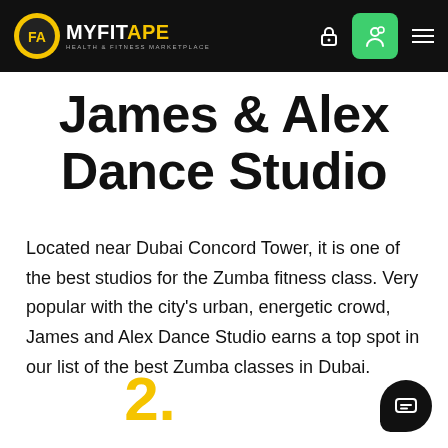MYFITAPE — Health & Fitness Marketplace (navigation bar)
James & Alex Dance Studio
Located near Dubai Concord Tower, it is one of the best studios for the Zumba fitness class. Very popular with the city's urban, energetic crowd, James and Alex Dance Studio earns a top spot in our list of the best Zumba classes in Dubai.
2.